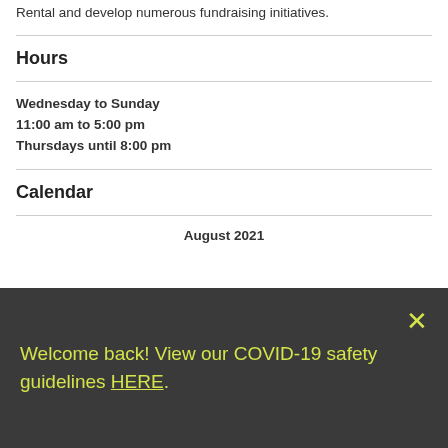Rental and develop numerous fundraising initiatives.
Hours
Wednesday to Sunday
11:00 am to 5:00 pm
Thursdays until 8:00 pm
Calendar
August 2021
Welcome back! View our COVID-19 safety guidelines HERE.